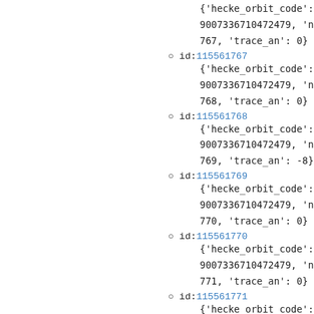{'hecke_orbit_code': 9007336710472479, 'n': 767, 'trace_an': 0}
id: 115561767 {'hecke_orbit_code': 9007336710472479, 'n': 768, 'trace_an': 0}
id: 115561768 {'hecke_orbit_code': 9007336710472479, 'n': 769, 'trace_an': -8}
id: 115561769 {'hecke_orbit_code': 9007336710472479, 'n': 770, 'trace_an': 0}
id: 115561770 {'hecke_orbit_code': 9007336710472479, 'n': 771, 'trace_an': 0}
id: 115561771 {'hecke_orbit_code':